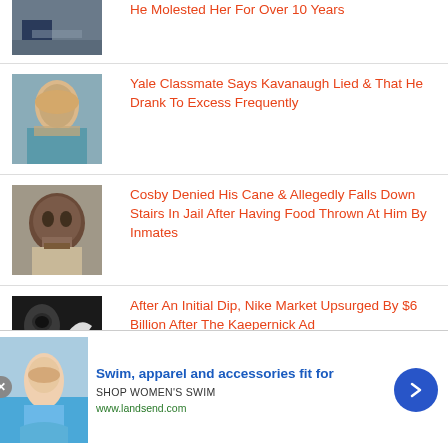[Figure (photo): Partial view of a person in a suit at a desk (top cropped)]
He Molested Her For Over 10 Years
[Figure (photo): Woman with blonde hair wearing a blue jacket]
Yale Classmate Says Kavanaugh Lied & That He Drank To Excess Frequently
[Figure (photo): Close-up of older Black man's face]
Cosby Denied His Cane & Allegedly Falls Down Stairs In Jail After Having Food Thrown At Him By Inmates
[Figure (photo): Black and white close-up of an eye with Nike logo]
After An Initial Dip, Nike Market Upsurged By $6 Billion After The Kaepernick Ad
[Figure (photo): Advertisement image of woman in swimwear on surfboard]
Swim, apparel and accessories fit for
SHOP WOMEN'S SWIM
www.landsend.com